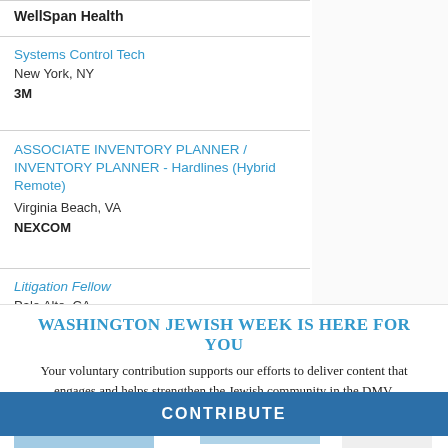WellSpan Health
Systems Control Tech
New York, NY
3M
ASSOCIATE INVENTORY PLANNER / INVENTORY PLANNER - Hardlines (Hybrid Remote)
Virginia Beach, VA
NEXCOM
Litigation Fellow
Palo Alto, CA
Sanford Heisler Sharp, LLP
WASHINGTON JEWISH WEEK IS HERE FOR YOU
Your voluntary contribution supports our efforts to deliver content that engages and helps strengthen the Jewish community in the DMV.
CONTRIBUTE